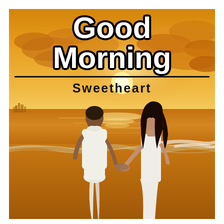[Figure (photo): A couple holding hands walking on a beach during a golden sunset. The man is on the left wearing white shorts and a white short-sleeve shirt, seen from behind. The woman is on the right wearing a white sleeveless dress with long dark hair, facing slightly toward the viewer. The beach has gentle waves and the sky is filled with warm golden-orange clouds. Buildings are faintly visible on the far left horizon.]
Good Morning
Sweetheart